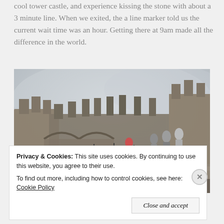cool tower castle, and experience kissing the stone with about a 3 minute line. When we exited, the a line marker told us the current wait time was an hour. Getting there at 9am made all the difference in the world.
[Figure (photo): A fisheye selfie photo of a couple smiling at the top of a stone castle with battlements and archways. Other tourists visible in the background walking along the castle top. Overcast/foggy sky.]
Privacy & Cookies: This site uses cookies. By continuing to use this website, you agree to their use. To find out more, including how to control cookies, see here: Cookie Policy